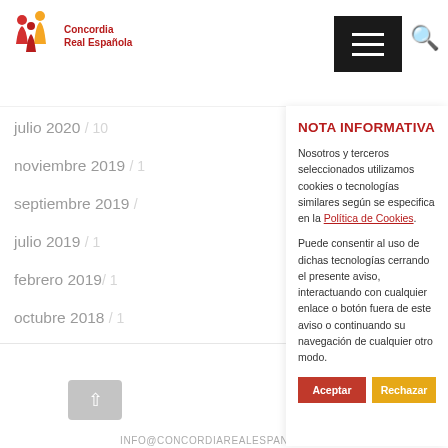Concordia Real Española
julio 2020 / 10
noviembre 2019 / 1
septiembre 2019 / 1
julio 2019 / 1
febrero 2019 / 1
octubre 2018 / 1
NOTA INFORMATIVA
Nosotros y terceros seleccionados utilizamos cookies o tecnologías similares según se especifica en la Política de Cookies.
Puede consentir al uso de dichas tecnologías cerrando el presente aviso, interactuando con cualquier enlace o botón fuera de este aviso o continuando su navegación de cualquier otro modo.
INFO@CONCORDIAREALESPANOLA.ES